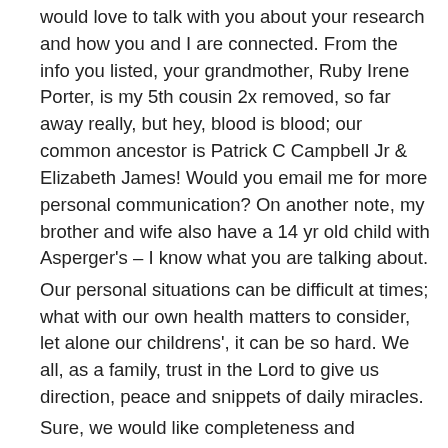would love to talk with you about your research and how you and I are connected. From the info you listed, your grandmother, Ruby Irene Porter, is my 5th cousin 2x removed, so far away really, but hey, blood is blood; our common ancestor is Patrick C Campbell Jr & Elizabeth James! Would you email me for more personal communication? On another note, my brother and wife also have a 14 yr old child with Asperger's – I know what you are talking about.
Our personal situations can be difficult at times; what with our own health matters to consider, let alone our childrens', it can be so hard. We all, as a family, trust in the Lord to give us direction, peace and snippets of daily miracles.
Sure, we would like completeness and